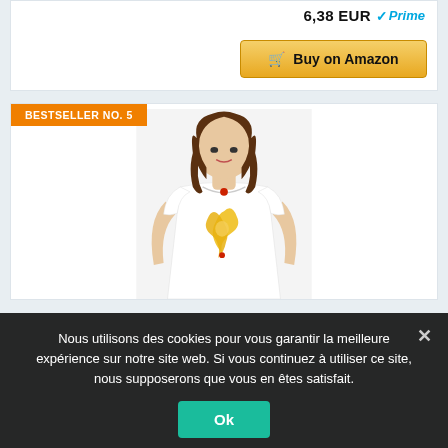6,38 EUR Prime
Buy on Amazon
BESTSELLER NO. 5
[Figure (photo): Woman wearing a white t-shirt with a golden anime-style character illustration on the front, shown from mid-torso up]
Nous utilisons des cookies pour vous garantir la meilleure expérience sur notre site web. Si vous continuez à utiliser ce site, nous supposerons que vous en êtes satisfait.
Ok